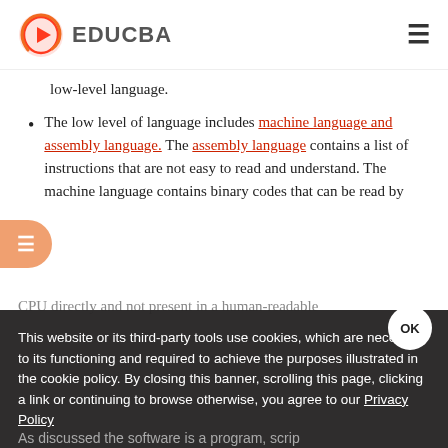EDUCBA
low-level language.
The low level of language includes machine language and assembly language. The assembly language contains a list of instructions that are not easy to read and understand. The machine language contains binary codes that can be read by CPU directly and not present in a human-readable ... be directly
This website or its third-party tools use cookies, which are necessary to its functioning and required to achieve the purposes illustrated in the cookie policy. By closing this banner, scrolling this page, clicking a link or continuing to browse otherwise, you agree to our Privacy Policy
As discussed the software is a program, scrip